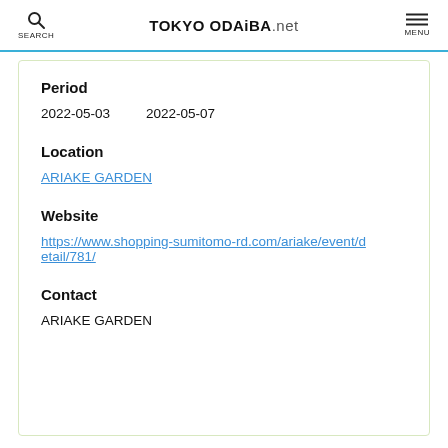SEARCH | TOKYO ODAIBA.net | MENU
Period
2022-05-03    2022-05-07
Location
ARIAKE GARDEN
Website
https://www.shopping-sumitomo-rd.com/ariake/event/detail/781/
Contact
ARIAKE GARDEN